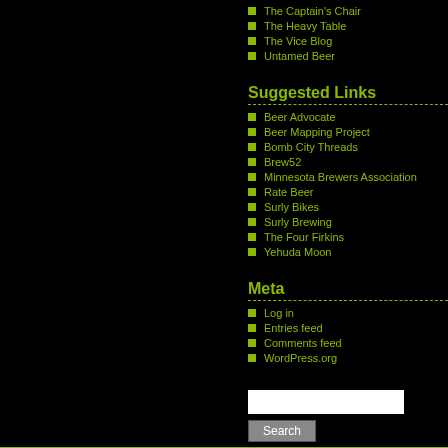The Captain's Chair
The Heavy Table
The Vice Blog
Untamed Beer
Suggested Links
Beer Advocate
Beer Mapping Project
Bomb City Threads
Brew52
Minnesota Brewers Association
Rate Beer
Surly Bikes
Surly Brewing
The Four Firkins
Yehuda Moon
Meta
Log in
Entries feed
Comments feed
WordPress.org